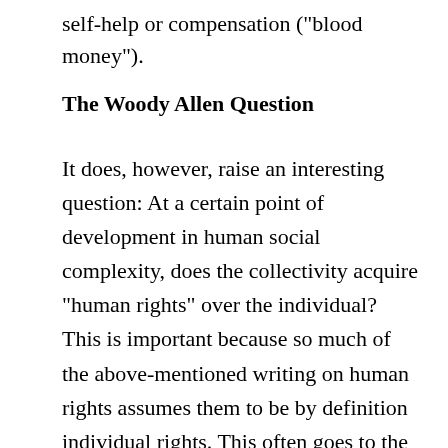self-help or compensation ("blood money").
The Woody Allen Question
It does, however, raise an interesting question: At a certain point of development in human social complexity, does the collectivity acquire "human rights" over the individual? This is important because so much of the above-mentioned writing on human rights assumes them to be by definition individual rights. This often goes to the length of seeing no rights as inhering in any